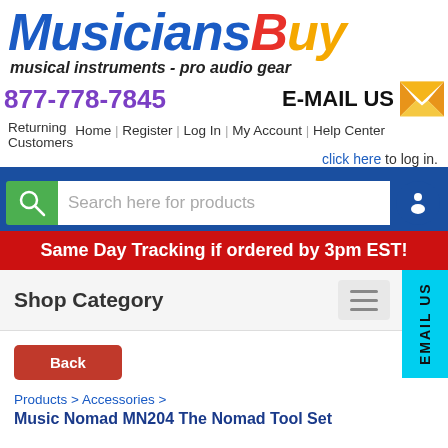[Figure (logo): MusiciansBuy logo with colorful italic text and tagline 'musical instruments - pro audio gear']
877-778-7845    E-MAIL US
Returning Customers  Home | Register | Log In | My Account | Help Center
click here to log in.
Search here for products
Same Day Tracking if ordered by 3pm EST!
Shop Category
Back
Products > Accessories >
Music Nomad MN204 The Nomad Tool Set